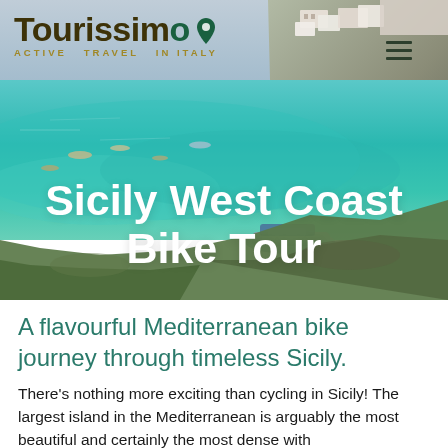[Figure (photo): Aerial/elevated view of the Sicilian west coast showing turquoise Mediterranean sea, white buildings on a cliff, rocky foreground with boats in the water, and green vegetation.]
Tourissimo ACTIVE TRAVEL IN ITALY
Sicily West Coast Bike Tour
A flavourful Mediterranean bike journey through timeless Sicily.
There’s nothing more exciting than cycling in Sicily! The largest island in the Mediterranean is arguably the most beautiful and certainly the most dense with